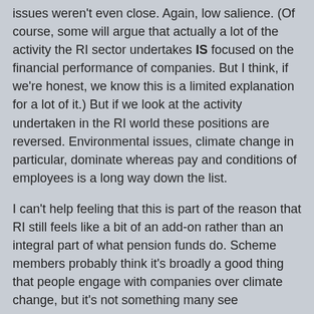issues weren't even close. Again, low salience. (Of course, some will argue that actually a lot of the activity the RI sector undertakes IS focused on the financial performance of companies. But I think, if we're honest, we know this is a limited explanation for a lot of it.) But if we look at the activity undertaken in the RI world these positions are reversed. Environmental issues, climate change in particular, dominate whereas pay and conditions of employees is a long way down the list.
I can't help feeling that this is part of the reason that RI still feels like a bit of an add-on rather than an integral part of what pension funds do. Scheme members probably think it's broadly a good thing that people engage with companies over climate change, but it's not something many see themselves having a personal interest in. And because of its low salience at best it's pretty irrelevant in terms of building beneficiary support for RI activity (making it easy for opponents to scrap the investment industry's "green crap"). At worst there could be a significant gap between what pension scheme members want and what the RI sector undertakes on their behalf. It could look a bit like the